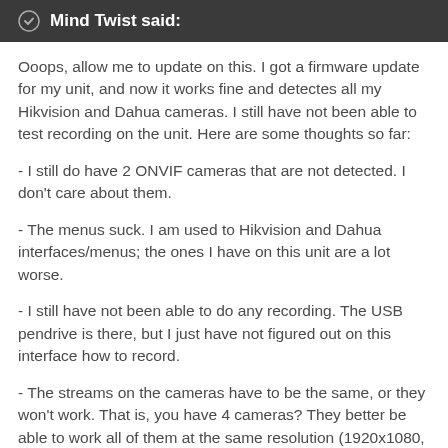Mind Twist said:
Ooops, allow me to update on this. I got a firmware update for my unit, and now it works fine and detectes all my Hikvision and Dahua cameras. I still have not been able to test recording on the unit. Here are some thoughts so far:
- I still do have 2 ONVIF cameras that are not detected. I don't care about them.
- The menus suck. I am used to Hikvision and Dahua interfaces/menus; the ones I have on this unit are a lot worse.
- I still have not been able to do any recording. The USB pendrive is there, but I just have not figured out on this interface how to record.
- The streams on the cameras have to be the same, or they won't work. That is, you have 4 cameras? They better be able to work all of them at the same resolution (1920x1080,